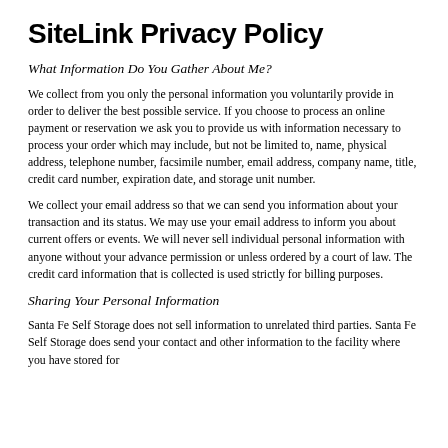SiteLink Privacy Policy
What Information Do You Gather About Me?
We collect from you only the personal information you voluntarily provide in order to deliver the best possible service. If you choose to process an online payment or reservation we ask you to provide us with information necessary to process your order which may include, but not be limited to, name, physical address, telephone number, facsimile number, email address, company name, title, credit card number, expiration date, and storage unit number.
We collect your email address so that we can send you information about your transaction and its status. We may use your email address to inform you about current offers or events. We will never sell individual personal information with anyone without your advance permission or unless ordered by a court of law. The credit card information that is collected is used strictly for billing purposes.
Sharing Your Personal Information
Santa Fe Self Storage does not sell information to unrelated third parties. Santa Fe Self Storage does send your contact and other information to the facility where you have stored for